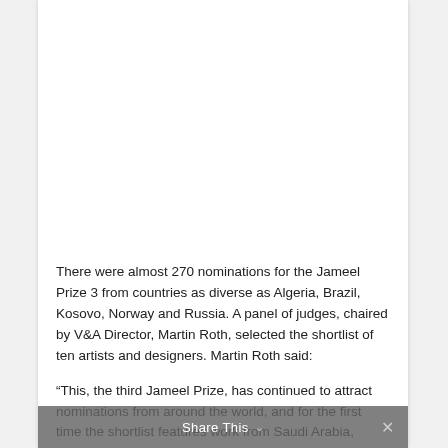There were almost 270 nominations for the Jameel Prize 3 from countries as diverse as Algeria, Brazil, Kosovo, Norway and Russia. A panel of judges, chaired by V&A Director, Martin Roth, selected the shortlist of ten artists and designers. Martin Roth said:
“This, the third Jameel Prize, has continued to attract nominations from around the world, and for the first time the shortlist features work from Saudi Arabia, Azerbaijan and India. The Jameel Prize 2011 touring exhibition has also attracted a wide audience, showing in America, Spain and France to more
Share This